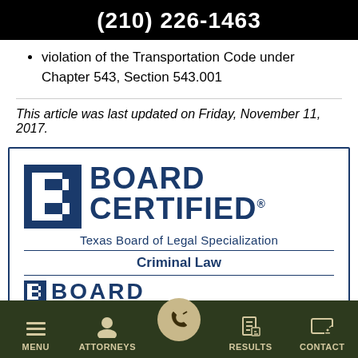(210) 226-1463
violation of the Transportation Code under Chapter 543, Section 543.001
This article was last updated on Friday, November 11, 2017.
[Figure (logo): Board Certified - Texas Board of Legal Specialization - Criminal Law badge/seal]
MENU   ATTORNEYS   [phone]   RESULTS   CONTACT